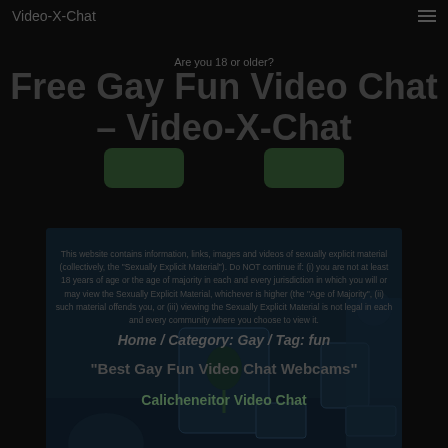Video-X-Chat
Are you 18 or older?
Free Gay Fun Video Chat – Video-X-Chat
This website contains information, links, images and videos of sexually explicit material (collectively, the "Sexually Explicit Material"). Do NOT continue if: (i) you are not at least 18 years of age or the age of majority in each and every jurisdiction in which you will or may view the Sexually Explicit Material, whichever is higher (the "Age of Majority", (ii) such material offends you, or (iii) viewing the Sexually Explicit Material is not legal in each and every community where you choose to view it.
Home / Category: Gay / Tag: fun
"Best Gay Fun Video Chat Webcams"
Calicheneitor Video Chat
[Figure (photo): Dark screenshot of a video chat interface showing tablets/devices on a desk with a plant illustration and a figure on the right side]